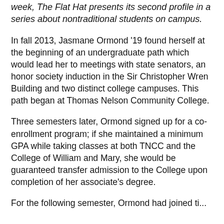week, The Flat Hat presents its second profile in a series about nontraditional students on campus.
In fall 2013, Jasmane Ormond '19 found herself at the beginning of an undergraduate path which would lead her to meetings with state senators, an honor society induction in the Sir Christopher Wren Building and two distinct college campuses. This path began at Thomas Nelson Community College.
Three semesters later, Ormond signed up for a co-enrollment program; if she maintained a minimum GPA while taking classes at both TNCC and the College of William and Mary, she would be guaranteed transfer admission to the College upon completion of her associate's degree.
For the following semester, Ormond had ...